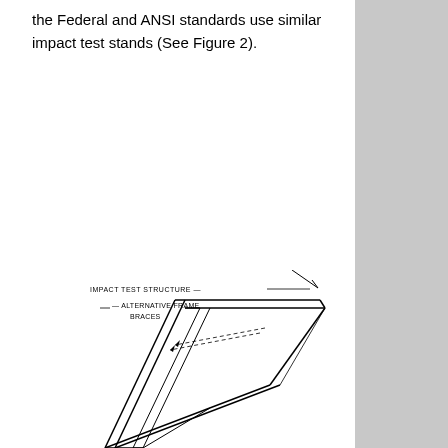the Federal and ANSI standards use similar impact test stands (See Figure 2).
[Figure (engineering-diagram): Technical engineering diagram showing an impact test structure with alternative frame braces. The drawing is an isometric/perspective line drawing showing a structural frame assembly with labeled components: 'IMPACT TEST STRUCTURE' and 'ALTERNATIVE FRAME BRACES'. Dashed lines indicate alternative brace positions.]